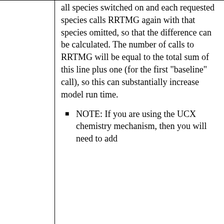all species switched on and each requested species calls RRTMG again with that species omitted, so that the difference can be calculated. The number of calls to RRTMG will be equal to the total sum of this line plus one (for the first "baseline" call), so this can substantially increase model run time.
NOTE: If you are using the UCX chemistry mechanism, then you will need to add